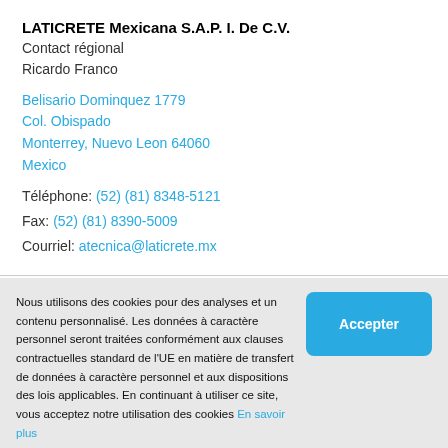LATICRETE Mexicana S.A.P. I. De C.V.
Contact régional
Ricardo Franco
Belisario Dominquez 1779
Col. Obispado
Monterrey, Nuevo Leon 64060
Mexico
Téléphone: (52) (81) 8348-5121
Fax: (52) (81) 8390-5009
Courriel: atecnica@laticrete.mx
Nous utilisons des cookies pour des analyses et un contenu personnalisé. Les données à caractère personnel seront traitées conformément aux clauses contractuelles standard de l'UE en matière de transfert de données à caractère personnel et aux dispositions des lois applicables. En continuant à utiliser ce site, vous acceptez notre utilisation des cookies En savoir plus